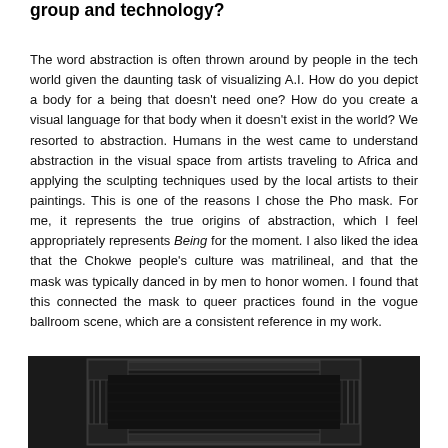group and technology?
The word abstraction is often thrown around by people in the tech world given the daunting task of visualizing A.I. How do you depict a body for a being that doesn't need one? How do you create a visual language for that body when it doesn't exist in the world? We resorted to abstraction. Humans in the west came to understand abstraction in the visual space from artists traveling to Africa and applying the sculpting techniques used by the local artists to their paintings. This is one of the reasons I chose the Pho mask. For me, it represents the true origins of abstraction, which I feel appropriately represents Being for the moment. I also liked the idea that the Chokwe people's culture was matrilineal, and that the mask was typically danced in by men to honor women. I found that this connected the mask to queer practices found in the vogue ballroom scene, which are a consistent reference in my work.
[Figure (photo): A dark photograph showing what appears to be a decorative or ornate mask/frame object with geometric rectangular patterns, photographed against a dark background.]